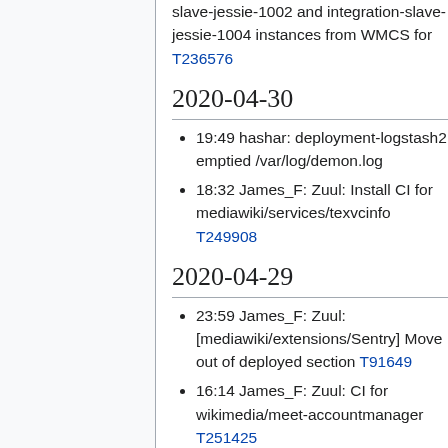slave-jessie-1002 and integration-slave-jessie-1004 instances from WMCS for T236576
2020-04-30
19:49 hashar: deployment-logstash2 emptied /var/log/demon.log
18:32 James_F: Zuul: Install CI for mediawiki/services/texvcinfo T249908
2020-04-29
23:59 James_F: Zuul: [mediawiki/extensions/Sentry] Move out of deployed section T91649
16:14 James_F: Zuul: CI for wikimedia/meet-accountmanager T251425
16:03 James_F: Shut down integration-slave-jessie-1002 and